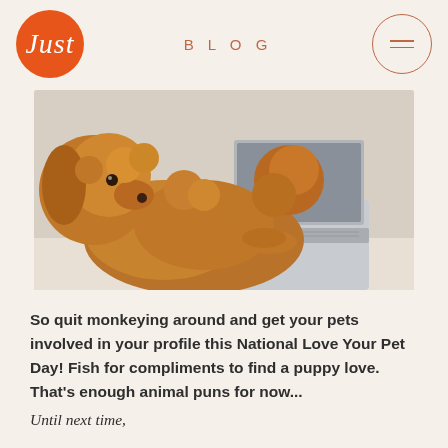Just | BLOG
[Figure (photo): A fluffy golden-brown poodle or doodle dog sitting at and typing on a silver laptop computer, photographed against a light background]
So quit monkeying around and get your pets involved in your profile this National Love Your Pet Day! Fish for compliments to find a puppy love. That's enough animal puns for now...
Until next time,